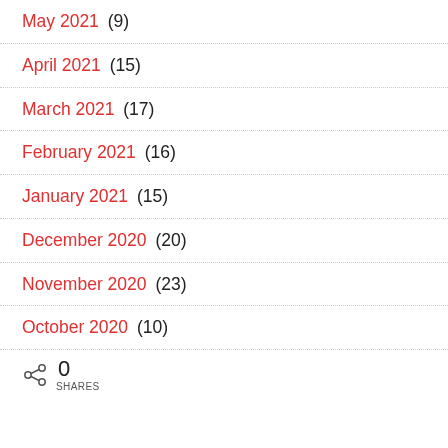May 2021 (9)
April 2021 (15)
March 2021 (17)
February 2021 (16)
January 2021 (15)
December 2020 (20)
November 2020 (23)
October 2020 (10)
0 SHARES